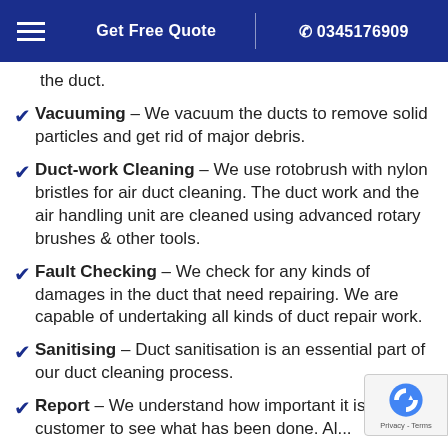Get Free Quote | 0345176909
the duct.
Vacuuming – We vacuum the ducts to remove solid particles and get rid of major debris.
Duct-work Cleaning – We use rotobrush with nylon bristles for air duct cleaning. The duct work and the air handling unit are cleaned using advanced rotary brushes & other tools.
Fault Checking – We check for any kinds of damages in the duct that need repairing. We are capable of undertaking all kinds of duct repair work.
Sanitising – Duct sanitisation is an essential part of our duct cleaning process.
Report – We understand how important it is the customer to see what has been done. Al...